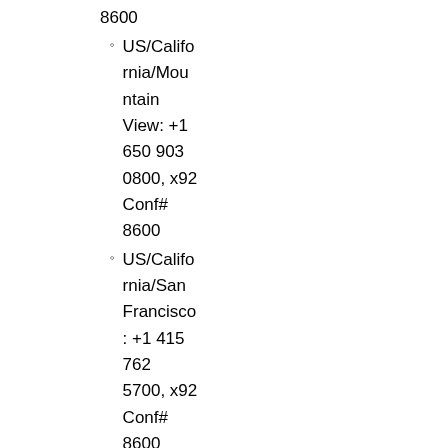8600
US/California/Mountain View: +1 650 903 0800, x92 Conf# 8600
US/California/San Francisco: +1 415 762 5700, x92 Conf# 8600
US/Oregon/Portland: +1